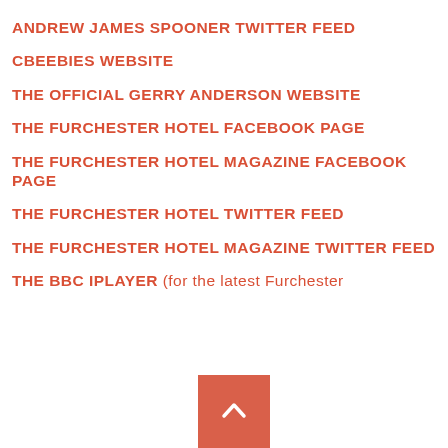ANDREW JAMES SPOONER TWITTER FEED
CBEEBIES WEBSITE
THE OFFICIAL GERRY ANDERSON WEBSITE
THE FURCHESTER HOTEL FACEBOOK PAGE
THE FURCHESTER HOTEL MAGAZINE FACEBOOK PAGE
THE FURCHESTER HOTEL TWITTER FEED
THE FURCHESTER HOTEL MAGAZINE TWITTER FEED
THE BBC IPLAYER (for the latest Furchester